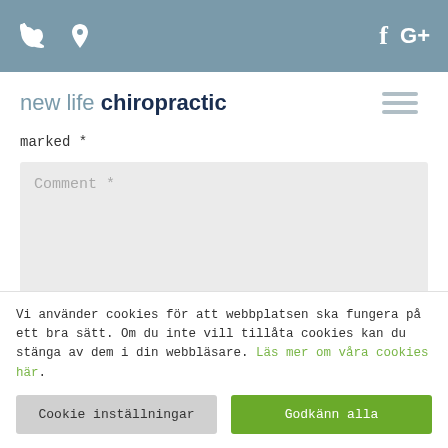new life chiropractic — navigation header with phone, location, facebook, google+ icons and hamburger menu
marked *
Comment *
Vi använder cookies för att webbplatsen ska fungera på ett bra sätt. Om du inte vill tillåta cookies kan du stänga av dem i din webbläsare. Läs mer om våra cookies här.
Cookie inställningar
Godkänn alla